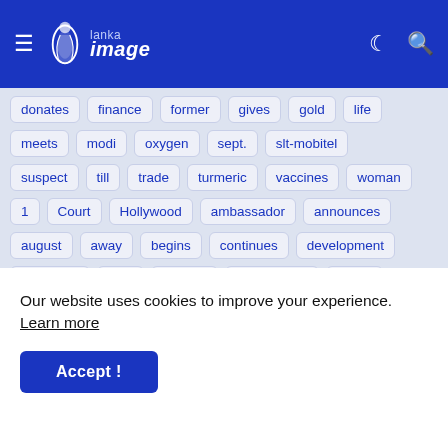Lanka Image — navigation bar with hamburger menu, logo, moon icon, search icon
donates
finance
former
gives
gold
life
meets
modi
oxygen
sept.
slt-mobitel
suspect
till
trade
turmeric
vaccines
woman
1
Court
Hollywood
ambassador
announces
august
away
begins
continues
development
economic
face
general
government
issue:
list
ministry
public
receives
report
seized
should
special
state
talks
vaccinated
year
Our website uses cookies to improve your experience. Learn more
Accept !